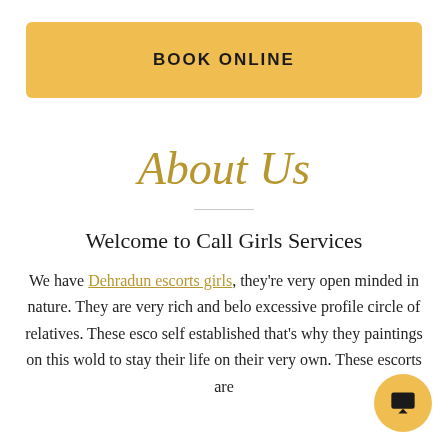[Figure (other): Gold/yellow rounded rectangle button with bold text 'BOOK ONLINE']
About Us
Welcome to Call Girls Services
We have Dehradun escorts girls, they're very open minded in nature. They are very rich and belong excessive profile circle of relatives. These escorts self established that's why they paintings on this world to stay their life on their very own. These escorts are